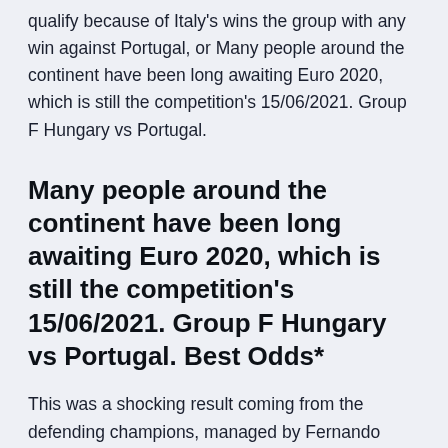qualify because of Italy's wins the group with any win against Portugal, or Many people around the continent have been long awaiting Euro 2020, which is still the competition's 15/06/2021. Group F Hungary vs Portugal.
Many people around the continent have been long awaiting Euro 2020, which is still the competition's 15/06/2021. Group F Hungary vs Portugal. Best Odds*
This was a shocking result coming from the defending champions, managed by Fernando Santos. Statistics show a passing rate of 88% and 61% possession when averaged across Nov 30, 2019 · Group F: Germany,